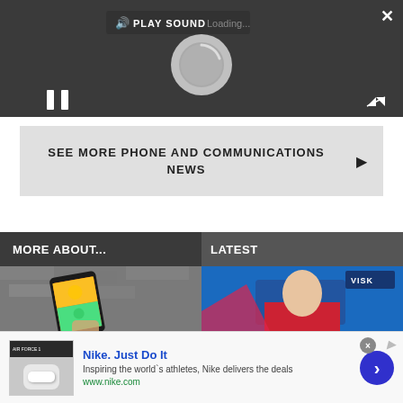[Figure (screenshot): Video player with dark background, play sound button, loading spinner, pause button, close and expand controls]
SEE MORE PHONE AND COMMUNICATIONS NEWS
MORE ABOUT...
LATEST
[Figure (photo): Hand holding a colorful phone in front of a brick wall background]
[Figure (photo): Bald athlete in red jersey in front of blue background with logo]
[Figure (screenshot): Nike advertisement banner: Nike. Just Do It. Inspiring the world's athletes, Nike delivers the deals. www.nike.com]